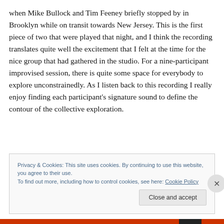when Mike Bullock and Tim Feeney briefly stopped by in Brooklyn while on transit towards New Jersey. This is the first piece of two that were played that night, and I think the recording translates quite well the excitement that I felt at the time for the nice group that had gathered in the studio. For a nine-participant improvised session, there is quite some space for everybody to explore unconstrainedly. As I listen back to this recording I really enjoy finding each participant's signature sound to define the contour of the collective exploration.
Privacy & Cookies: This site uses cookies. By continuing to use this website, you agree to their use.
To find out more, including how to control cookies, see here: Cookie Policy